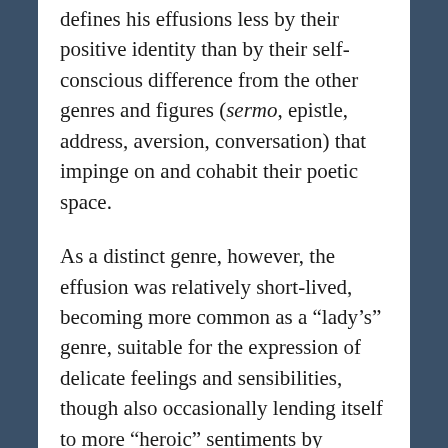defines his effusions less by their positive identity than by their self-conscious difference from the other genres and figures (sermo, epistle, address, aversion, conversation) that impinge on and cohabit their poetic space.
As a distinct genre, however, the effusion was relatively short-lived, becoming more common as a “lady’s” genre, suitable for the expression of delicate feelings and sensibilities, though also occasionally lending itself to more “heroic” sentiments by military men. Effusions of the heart, the poets discovered, can be both literal and figurative, erotic and patriotic, tender and polemical. . . . Later, indeed, there would be a few noteworthy instances of the genre, such as Wordsworth’s 1835 “Extempore Effusion upon the Death of James Hogg,” in which Coleridge is